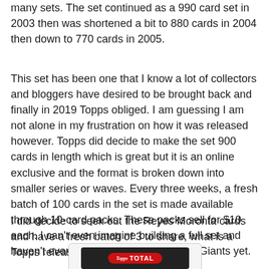many sets.  The set continued as a 990 card set in 2003 then was shortened a bit to 880 cards in 2004 then down to 770 cards in 2005.
This set has been one that I know a lot of collectors and bloggers have desired to be brought back and finally in 2019 Topps obliged.  I am guessing I am not alone in my frustration on how it was released however.  Topps did decide to make the set 900 cards in length which is great but it is an online exclusive and the format is broken down into smaller series or waves. Every three weeks, a fresh batch of 100 cards in the set is made available through 10-card packs. These packs sell for $10 each. I can't even imagine building a full set and haven't even decided to go after all the Giants yet.
I did decide to seek out the Reyes Moronta cards and have a fresh batch of 3 to share, what is a Topps release without some parallels:
[Figure (photo): Partial view of a Topps Total baseball card showing the Topps Total logo badge on a dark background, card has rounded corners and a light border.]